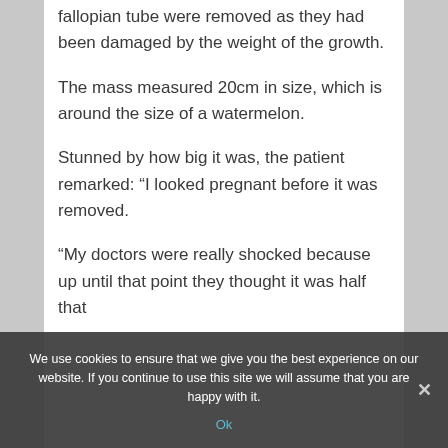fallopian tube were removed as they had been damaged by the weight of the growth.
The mass measured 20cm in size, which is around the size of a watermelon.
Stunned by how big it was, the patient remarked: “I looked pregnant before it was removed.
“My doctors were really shocked because up until that point they thought it was half that
We use cookies to ensure that we give you the best experience on our website. If you continue to use this site we will assume that you are happy with it.